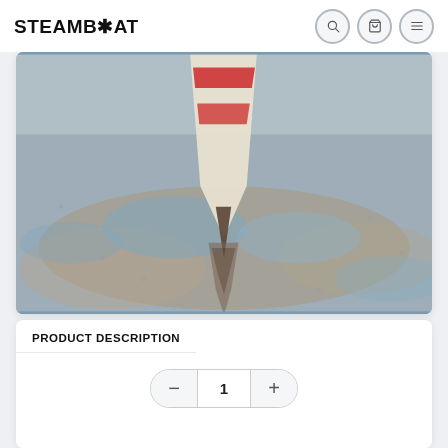STEAMB*AT
[Figure (photo): A sailing boat with red and white hull seen from above, pointing downward in shallow water or wet sand with reflections visible]
PRODUCT DESCRIPTION
1 (quantity selector with minus and plus buttons)